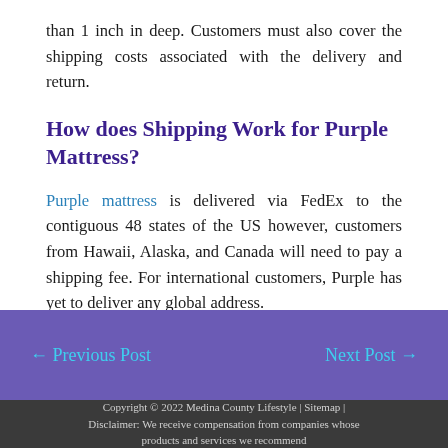than 1 inch in deep. Customers must also cover the shipping costs associated with the delivery and return.
How does Shipping Work for Purple Mattress?
Purple mattress is delivered via FedEx to the contiguous 48 states of the US however, customers from Hawaii, Alaska, and Canada will need to pay a shipping fee. For international customers, Purple has yet to deliver any global address.
← Previous Post    Next Post →
Copyright © 2022 Medina County Lifestyle | Sitemap | Disclaimer: We receive compensation from companies whose products and services we recommend